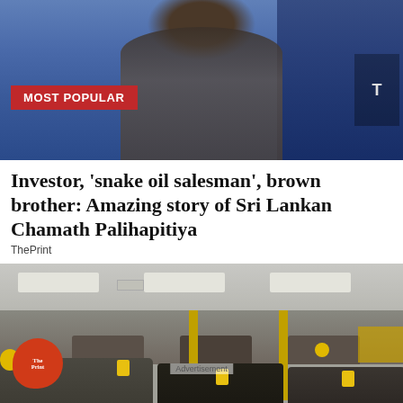[Figure (photo): Photo of a man in a grey suit, hands clasped, against a blue background]
Investor, ‘snake oil salesman’, brown brother: Amazing story of Sri Lankan Chamath Palihapitiya
ThePrint
[Figure (photo): Interior of a furniture store with sofas, yellow balloons, and The Print logo overlay. Shows 'Advertisement' label.]
[Figure (other): Advertisement banner: Save Up To $110 On New Tires - Virginia Tire & Auto of Ashburn Fa.]
Ashburn: Sofas sin vender se reparten casi gratis